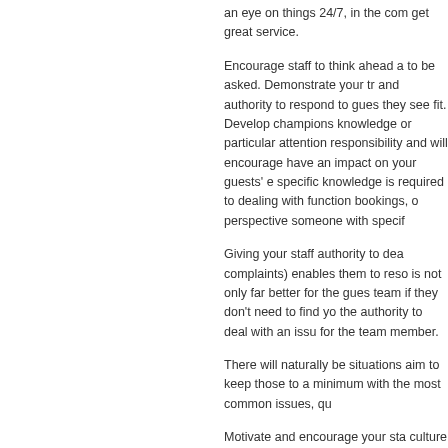an eye on things 24/7, in the com get great service.
Encourage staff to think ahead a to be asked. Demonstrate your tr and authority to respond to gues they see fit. Develop champions knowledge or particular attention responsibility and will encourage have an impact on your guests' e specific knowledge is required to dealing with function bookings, o perspective someone with specif
Giving your staff authority to dea complaints) enables them to reso is not only far better for the gues team if they don't need to find yo the authority to deal with an issu for the team member.
There will naturally be situations aim to keep those to a minimum with the most common issues, qu
Motivate and encourage your sta culture of continuous improveme feedback. When they receive fav